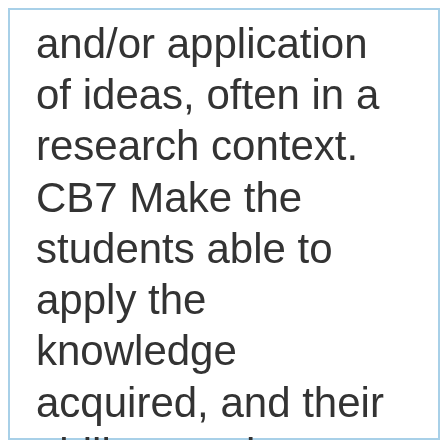and/or application of ideas, often in a research context. CB7 Make the students able to apply the knowledge acquired, and their ability to solve